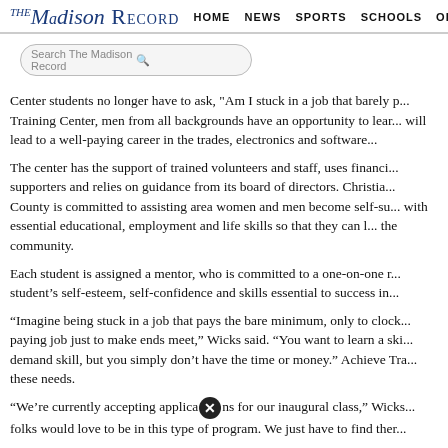The Madison Record HOME NEWS SPORTS SCHOOLS OPINION
Search The Madison Record
Center students no longer have to ask, "Am I stuck in a job that barely p... Training Center, men from all backgrounds have an opportunity to learn... will lead to a well-paying career in the trades, electronics and software...
The center has the support of trained volunteers and staff, uses financi... supporters and relies on guidance from its board of directors. Christia... County is committed to assisting area women and men become self-su... with essential educational, employment and life skills so that they can l... the community.
Each student is assigned a mentor, who is committed to a one-on-one r... student’s self-esteem, self-confidence and skills essential to success in...
“Imagine being stuck in a job that pays the bare minimum, only to clock... paying job just to make ends meet,” Wicks said. “You want to learn a ski... demand skill, but you simply don’t have the time or money.” Achieve Tra... these needs.
“We’re currently accepting applications for our inaugural class,” Wicks... folks would love to be in this type of program. We just have to find ther...
To get started, an interested person should complete the application av... achievetrainingcenter.com. Click “Application” in the dropdown menu.... form online or download/print the form and return to 233 Stokes St. in...
Admission into Achieve Training requires a background check and dru...